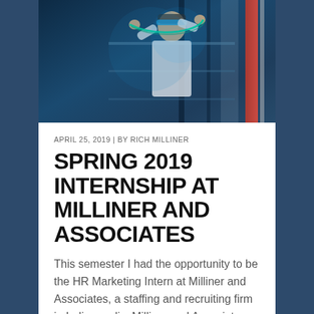[Figure (photo): Woman in lab coat working with industrial equipment, blue lighting, engineering/industrial setting]
APRIL 25, 2019 | BY RICH MILLINER
SPRING 2019 INTERNSHIP AT MILLINER AND ASSOCIATES
This semester I had the opportunity to be the HR Marketing Intern at Milliner and Associates, a staffing and recruiting firm in Indianapolis. Milliner and Associates provides temporary, temp-to-hire and direct hire